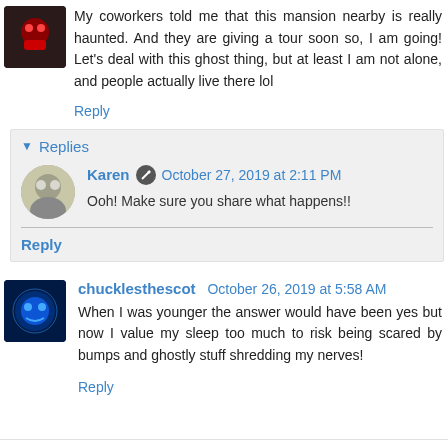My coworkers told me that this mansion nearby is really haunted. And they are giving a tour soon so, I am going! Let's deal with this ghost thing, but at least I am not alone, and people actually live there lol
Reply
Replies
Karen  October 27, 2019 at 2:11 PM
Ooh! Make sure you share what happens!!
Reply
chucklesthescot  October 26, 2019 at 5:58 AM
When I was younger the answer would have been yes but now I value my sleep too much to risk being scared by bumps and ghostly stuff shredding my nerves!
Reply